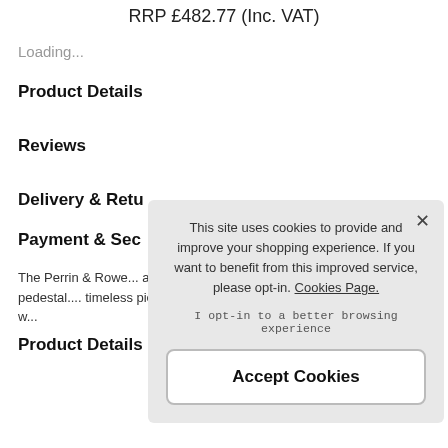RRP £482.77 (Inc. VAT)
Loading...
Product Details
Reviews
Delivery & Retu...
Payment & Sec...
The Perrin & Rowe... and elegant additio... extra of a pedestal.... timeless piece, and... time against daily w...
Product Details
This site uses cookies to provide and improve your shopping experience. If you want to benefit from this improved service, please opt-in. Cookies Page.
I opt-in to a better browsing experience
Accept Cookies